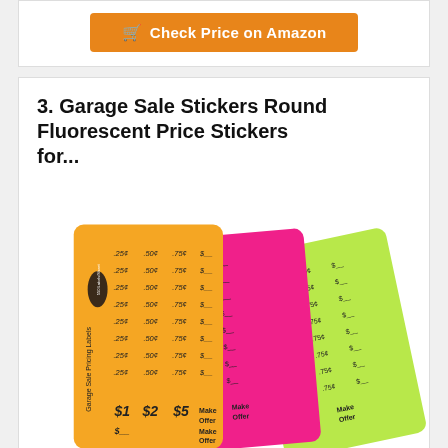[Figure (other): Orange button with shopping cart icon reading 'Check Price on Amazon']
3. Garage Sale Stickers Round Fluorescent Price Stickers for...
[Figure (photo): Photo of fluorescent price sticker sheets in orange, pink, and yellow-green colors showing price labels: .25¢, .50¢, .75¢, $__, $1, $2, $5, Make Offer]